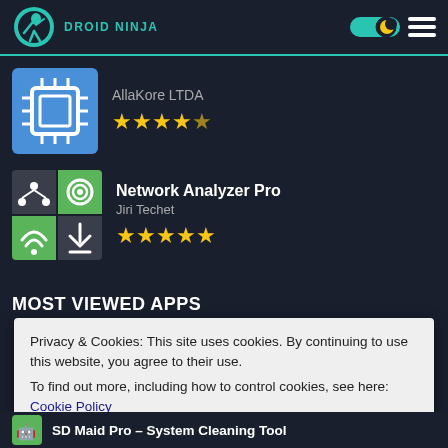[Figure (logo): Droid Ninja logo with ninja silhouette in teal circle and teal text reading DROID NINJA]
[Figure (screenshot): App listing: AllaKore LTDA with 4.5 star rating and chip/CPU icon on blue background]
[Figure (screenshot): App listing: Network Analyzer Pro by Jiri Techet with 5 star rating and network analyzer icon on gray/green background]
MOST VIEWED APPS
Privacy & Cookies: This site uses cookies. By continuing to use this website, you agree to their use.
To find out more, including how to control cookies, see here: Cookie Policy
Close and accept
SD Maid Pro – System Cleaning Tool